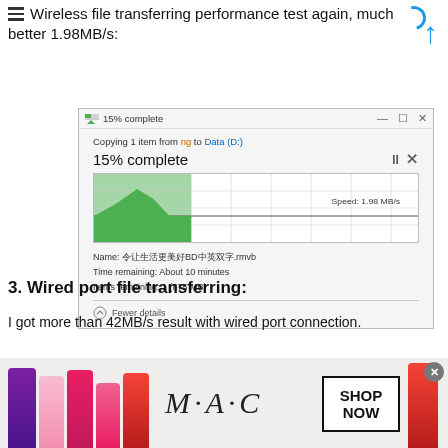Wireless file transferring performance test again, much better 1.98MB/s:
[Figure (screenshot): Windows file copy dialog showing 15% complete, copying 1 item from ng to Data (D:), with a speed graph showing 1.98 MB/s, file name: 令让生活更美好BD中英双字.rmvb, Time remaining: About 10 minutes, Items remaining: 1 (875 MB), with Fewer details option]
3. Wired port file transferring:
I got more than 42MB/s result with wired port connection.
[Figure (screenshot): Partial Windows file copy dialog showing 45% complete]
[Figure (photo): Advertisement banner showing MAC cosmetics lipsticks with SHOP NOW button]